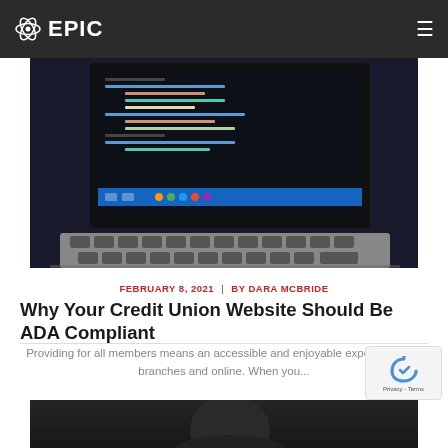EPIC
[Figure (photo): Close-up photo of a laptop keyboard with a code editor visible on the screen, dark theme with colorful syntax highlighting]
FEBRUARY 8, 2021  |  BY DARA MCBRIDE
Why Your Credit Union Website Should Be ADA Compliant
Providing for all members means an accessible and enjoyable experience—in branches and online. When you...
[Figure (photo): Bottom strip of another article image, dark tones]